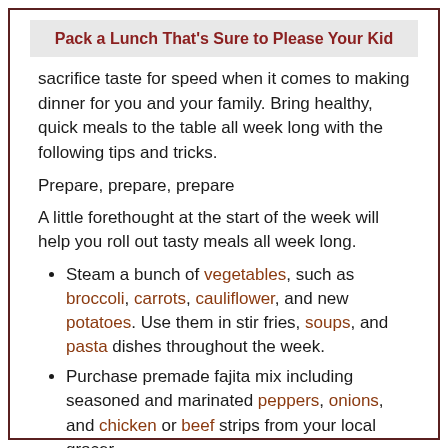Pack a Lunch That's Sure to Please Your Kid
sacrifice taste for speed when it comes to making dinner for you and your family. Bring healthy, quick meals to the table all week long with the following tips and tricks.
Prepare, prepare, prepare
A little forethought at the start of the week will help you roll out tasty meals all week long.
Steam a bunch of vegetables, such as broccoli, carrots, cauliflower, and new potatoes. Use them in stir fries, soups, and pasta dishes throughout the week.
Purchase premade fajita mix including seasoned and marinated peppers, onions, and chicken or beef strips from your local grocer.
Stock your pantry